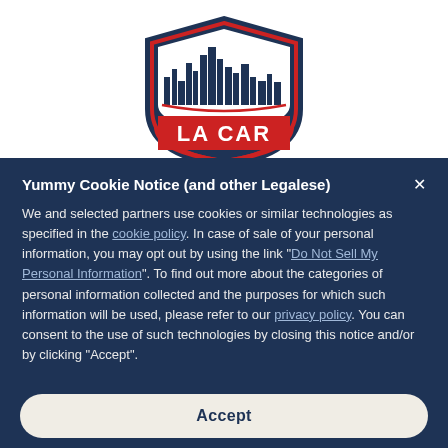[Figure (logo): LA CAR shield logo with city skyline silhouette, dark navy and red colors]
Yummy Cookie Notice (and other Legalese)
We and selected partners use cookies or similar technologies as specified in the cookie policy. In case of sale of your personal information, you may opt out by using the link "Do Not Sell My Personal Information". To find out more about the categories of personal information collected and the purposes for which such information will be used, please refer to our privacy policy. You can consent to the use of such technologies by closing this notice and/or by clicking "Accept".
Accept